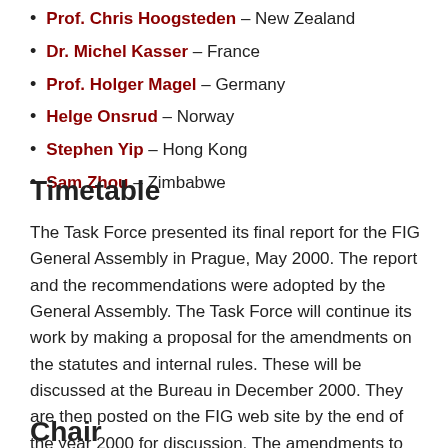Prof. Chris Hoogsteden – New Zealand
Dr. Michel Kasser – France
Prof. Holger Magel – Germany
Helge Onsrud – Norway
Stephen Yip – Hong Kong
Sam Zhou – Zimbabwe
Timetable
The Task Force presented its final report for the FIG General Assembly in Prague, May 2000. The report and the recommendations were adopted by the General Assembly. The Task Force will continue its work by making a proposal for the amendments on the statutes and internal rules. These will be discussed at the Bureau in December 2000. They are then posted on the FIG web site by the end of the year 2000 for discussion. The amendments to the statutes and internal rules will be decided by the General Assembly in Seoul in May 2001.
Chair